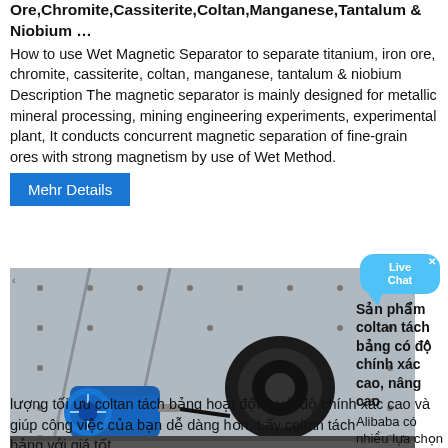Ore,Chromite,Cassiterite,Coltan,Manganese,Tantalum & Niobium …
How to use Wet Magnetic Separator to separate titanium, iron ore, chromite, cassiterite, coltan, manganese, tantalum & niobium Description The magnetic separator is mainly designed for metallic mineral processing, mining engineering experiments, experimental plant, It conducts concurrent magnetic separation of fine-grain ores with strong magnetism by use of Wet Method.
Mehr Details
[Figure (photo): Photo of a wet magnetic separator machine showing a large grey metal housing with bolt holes, a blue electric motor on the left, and a black gear/belt drive mechanism in the center.]
Sản phẩm coltan tách bảng có độ chính xác cao, nâng cao
Alibaba có nhiều lựa chọn về chất lượng tối ưu coltan tách bảng hoạt động với độ chính xác cao và giúp công việc của bạn dễ dàng hơn. Lấy coltan tách bảng với giá tốt...